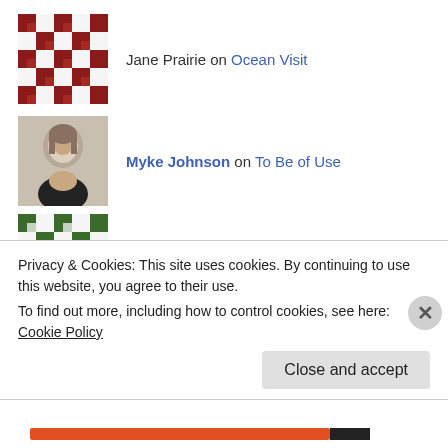Jane Prairie on Ocean Visit
Myke Johnson on To Be of Use
lorna on To Be of Use
To Be of Use | Findi… on Can I Forgive the Squirrels?
Myke Johnson on Tragedy in the Garden
Privacy & Cookies: This site uses cookies. By continuing to use this website, you agree to their use.
To find out more, including how to control cookies, see here: Cookie Policy